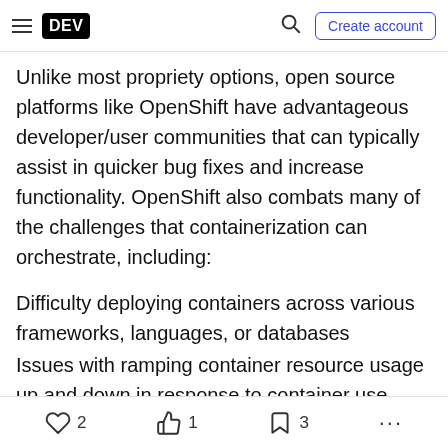DEV | Create account
Unlike most propriety options, open source platforms like OpenShift have advantageous developer/user communities that can typically assist in quicker bug fixes and increase functionality. OpenShift also combats many of the challenges that containerization can orchestrate, including:
Difficulty deploying containers across various frameworks, languages, or databases
Issues with ramping container resource usage up and down in response to container use
Issues with tracking dependencies
Difficulty tracking and monitoring container
2  1  3  ...